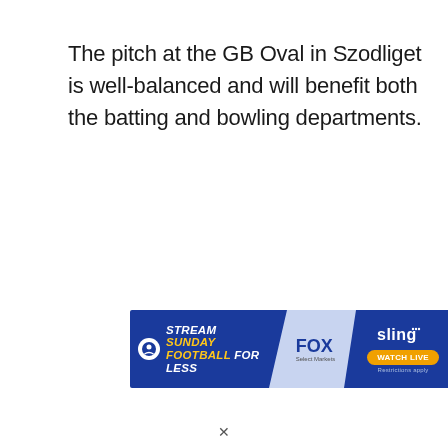The pitch at the GB Oval in Szodliget is well-balanced and will benefit both the batting and bowling departments.
[Figure (infographic): Advertisement banner for Sling TV: 'STREAM SUNDAY FOOTBALL FOR LESS' with FOX and Sling logos and 'WATCH LIVE' button. Restrictions apply.]